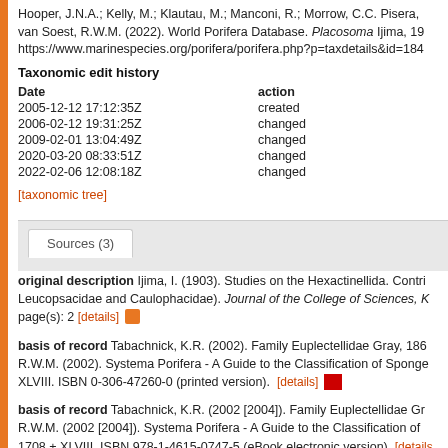Hooper, J.N.A.; Kelly, M.; Klautau, M.; Manconi, R.; Morrow, C.C. Pisera, van Soest, R.W.M. (2022). World Porifera Database. Placosoma Ijima, 19 https://www.marinespecies.org/porifera/porifera.php?p=taxdetails&id=184
Taxonomic edit history
| Date | action |
| --- | --- |
| 2005-12-12 17:12:35Z | created |
| 2006-02-12 19:31:25Z | changed |
| 2009-02-01 13:04:49Z | changed |
| 2020-03-20 08:33:51Z | changed |
| 2022-02-06 12:08:18Z | changed |
[taxonomic tree]
Sources (3)
original description Ijima, I. (1903). Studies on the Hexactinellida. Contri Leucopsacidae and Caulophacidae). Journal of the College of Sciences, K page(s): 2 [details]
basis of record Tabachnick, K.R. (2002). Family Euplectellidae Gray, 186 R.W.M. (2002). Systema Porifera - A Guide to the Classification of Sponge XLVIII. ISBN 0-306-47260-0 (printed version). [details]
basis of record Tabachnick, K.R. (2002 [2004]). Family Euplectellidae Gr R.W.M. (2002 [2004]). Systema Porifera - A Guide to the Classification of 1708 + XLVIII. ISBN 978-1-4615-0747-5 (eBook electronic version). [details]